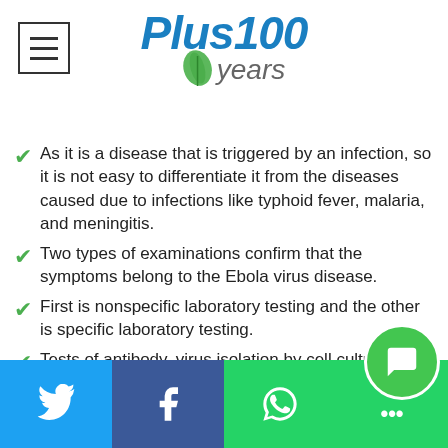Plus100 years
As it is a disease that is triggered by an infection, so it is not easy to differentiate it from the diseases caused due to infections like typhoid fever, malaria, and meningitis.
Two types of examinations confirm that the symptoms belong to the Ebola virus disease.
First is nonspecific laboratory testing and the other is specific laboratory testing.
Tests of antibody, virus isolation by cell culture, electron microscopy etc. are recommended along with is antigen (capture detection test) and serum neutralization tests.
Complications of Ebola